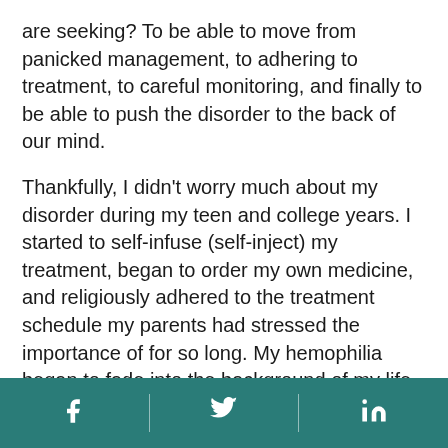are seeking? To be able to move from panicked management, to adhering to treatment, to careful monitoring, and finally to be able to push the disorder to the back of our mind.
Thankfully, I didn't worry much about my disorder during my teen and college years. I started to self-infuse (self-inject) my treatment, began to order my own medicine, and religiously adhered to the treatment schedule my parents had stressed the importance of for so long. My hemophilia began to fade into the background of my life, but I never hid the fact that I have hemophilia. In fact, I was proud of this thing that made me unique. But as time went on, I formed an identity outside of my disorder. I started lifting weights, I learned how to play the drums, I
Facebook | Twitter | LinkedIn